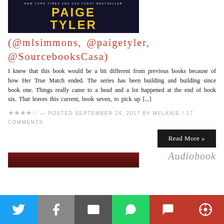[Figure (photo): Book cover showing PAIGE TYLER author name in large yellow bold text on dark blue background, with 'NEW YORK TIMES AND USA TODAY BESTSELLER' subtitle text]
(@mlsimmons, @paigetyler, @SourcebooksCasa)
I knew that this book would be a bit different from previous books because of how Her True Match ended. The series has been building and building since book one. Things really came to a head and a lot happened at the end of book six. That leaves this current, book seven, to pick up [...]
★★★★☆ — POSTED SEPTEMBER 24, 2017 BY MELANIE / 17 COMMENTS
Read More »
[Figure (photo): Bottom portion of a book cover with red/dark tones, partially visible]
Audiobook